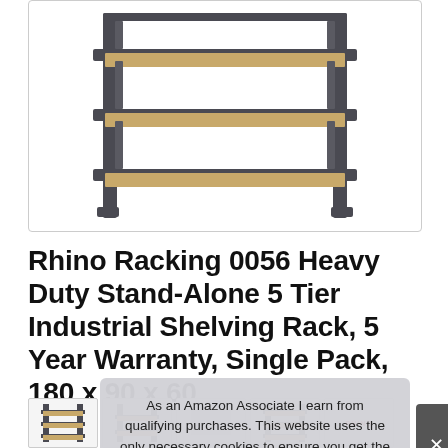[Figure (photo): Product photo of a Rhino Racking heavy duty metal shelving unit with 5 tiers, dark grey steel frame and light wood-colored MDF shelves, shown on white background inside a bordered container.]
Rhino Racking 0056 Heavy Duty Stand-Alone 5 Tier Industrial Shelving Rack, 5 Year Warranty, Single Pack, 180 x 90 x 60
As an Amazon Associate I earn from qualifying purchases. This website uses the only necessary cookies to ensure you get the best experience on our website. More information
[Figure (photo): Row of small product thumbnail images at the bottom of the page, with a Rhino logo in the bottom-right corner.]